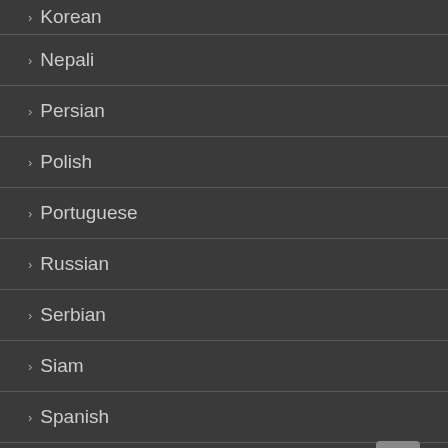Korean
Nepali
Persian
Polish
Portuguese
Russian
Serbian
Siam
Spanish
Ukranian